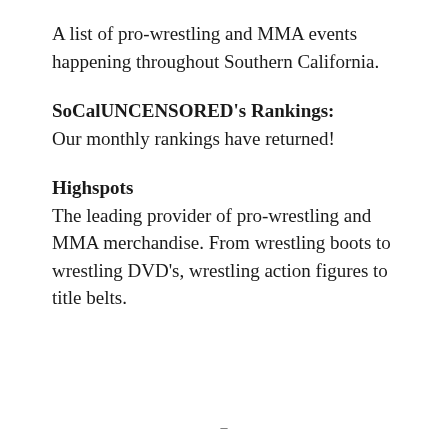A list of pro-wrestling and MMA events happening throughout Southern California.
SoCalUNCENSORED's Rankings:
Our monthly rankings have returned!
Highspots
The leading provider of pro-wrestling and MMA merchandise. From wrestling boots to wrestling DVD's, wrestling action figures to title belts.